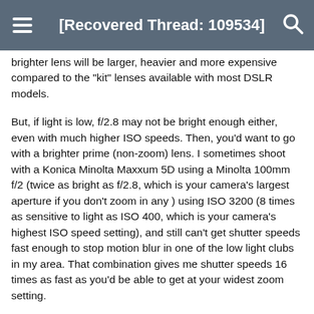[Recovered Thread: 109534]
brighter lens will be larger, heavier and more expensive compared to the "kit" lenses available with most DSLR models.
But, if light is low, f/2.8 may not be bright enough either, even with much higher ISO speeds. Then, you'd want to go with a brighter prime (non-zoom) lens. I sometimes shoot with a Konica Minolta Maxxum 5D using a Minolta 100mm f/2 (twice as bright as f/2.8, which is your camera's largest aperture if you don't zoom in any ) using ISO 3200 (8 times as sensitive to light as ISO 400, which is your camera's highest ISO speed setting), and still can't get shutter speeds fast enough to stop motion blur in one of the low light clubs in my area. That combination gives me shutter speeds 16 times as fast as you'd be able to get at your widest zoom setting.
Every camera will have limitations. That's why you have a